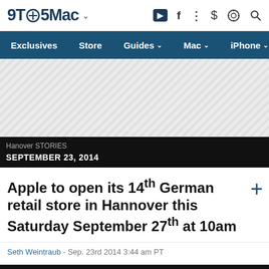9TO5Mac
Exclusives Store Guides Mac iPhone Wa
[Figure (other): Advertisement placeholder area with diagonal hatching pattern]
Hanover STORIES
SEPTEMBER 23, 2014
Apple to open its 14th German retail store in Hannover this Saturday September 27th at 10am
Seth Weintraub - Sep. 23rd 2014 3:44 am PT
Hanover STORIES
JULY 18, 2014
Problems with Hannover Apple Store reportedly resolved, opening in September